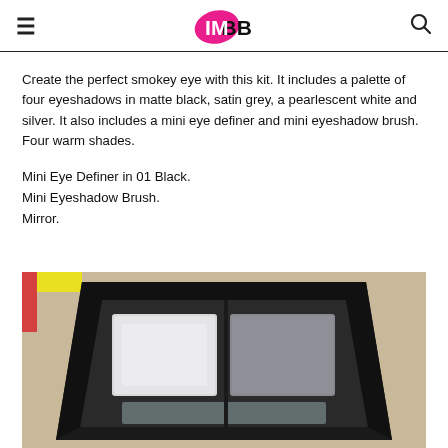IMBB (logo)
Create the perfect smokey eye with this kit. It includes a palette of four eyeshadows in matte black, satin grey, a pearlescent white and silver. It also includes a mini eye definer and mini eyeshadow brush.  Four warm shades.
Mini Eye Definer in 01 Black.
Mini Eyeshadow Brush.
Mirror.
[Figure (photo): Open black eyeshadow palette showing two eyeshadow pans — one white/pearlescent and one grey — in a compact with a mirror, photographed on a beige carpet background with yellow packaging visible at top left.]